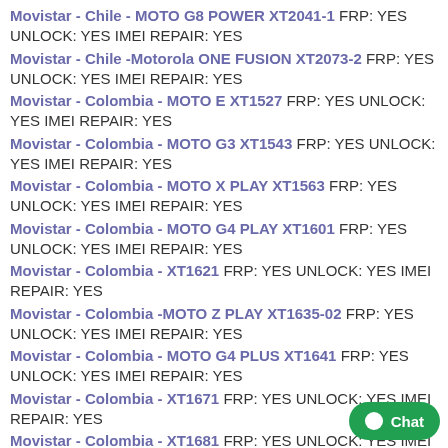Movistar - Chile - MOTO G8 POWER XT2041-1 FRP: YES UNLOCK: YES IMEI REPAIR: YES
Movistar - Chile -Motorola ONE FUSION XT2073-2 FRP: YES UNLOCK: YES IMEI REPAIR: YES
Movistar - Colombia - MOTO E XT1527 FRP: YES UNLOCK: YES IMEI REPAIR: YES
Movistar - Colombia - MOTO G3 XT1543 FRP: YES UNLOCK: YES IMEI REPAIR: YES
Movistar - Colombia - MOTO X PLAY XT1563 FRP: YES UNLOCK: YES IMEI REPAIR: YES
Movistar - Colombia - MOTO G4 PLAY XT1601 FRP: YES UNLOCK: YES IMEI REPAIR: YES
Movistar - Colombia - XT1621 FRP: YES UNLOCK: YES IMEI REPAIR: YES
Movistar - Colombia -MOTO Z PLAY XT1635-02 FRP: YES UNLOCK: YES IMEI REPAIR: YES
Movistar - Colombia - MOTO G4 PLUS XT1641 FRP: YES UNLOCK: YES IMEI REPAIR: YES
Movistar - Colombia - XT1671 FRP: YES UNLOCK: YES IMEI REPAIR: YES
Movistar - Colombia - XT1681 FRP: YES UNLOCK: YES IMEI REPAIR: YES
Movistar - Colombia - MOTO Z2 PLAY XT1710-06 FRP: YES UNLOCK: YES IMEI REPAIR: YES
Movistar - Colombia -MOTO E5 PLAY XT1920-19 FRP: YES UNLOCK: YES IMEI REPAIR: YES
Movistar - Colombia - MOTO E5 PLAY XT1920-1 FRP: YES UNLOCK: YES IMEI REPAIR: YES